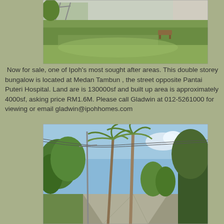[Figure (photo): Aerial/ground view of a large green lawn/garden area with some structures visible in the background, part of a bungalow property in Medan Tambun, Ipoh]
Now for sale, one of Ipoh's most sought after areas. This double storey bungalow is located at Medan Tambun , the street opposite Pantai Puteri Hospital. Land are is 130000sf and built up area is approximately 4000sf, asking price RM1.6M. Please call Gladwin at 012-5261000 for viewing or email gladwin@ipohhomes.com
[Figure (photo): Street view of Medan Tambun showing tall palm trees lining a quiet road, with lush green trees on both sides and a utility pole with wires visible]